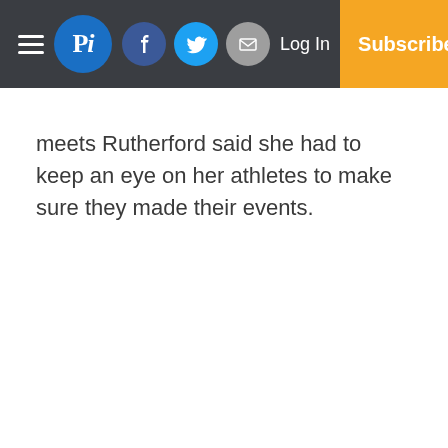Pi — Log In — Subscribe
meets Rutherford said she had to keep an eye on her athletes to make sure they made their events.